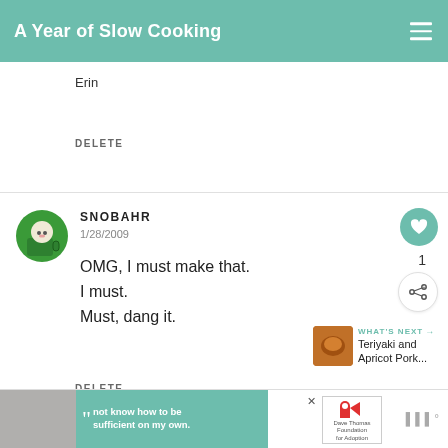A Year of Slow Cooking
Erin
DELETE
SNOBAHR
1/28/2009
OMG, I must make that.
I must.
Must, dang it.
DELETE
WHAT'S NEXT → Teriyaki and Apricot Pork...
not know how to be sufficient on my own.